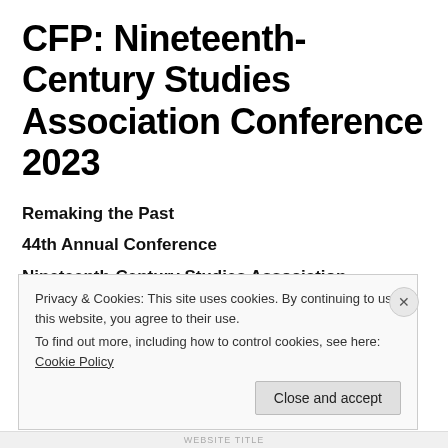CFP: Nineteenth-Century Studies Association Conference 2023
Remaking the Past
44th Annual Conference
Nineteenth-Century Studies Association
Sacramento, California
March 30 – April 1, 2023
Privacy & Cookies: This site uses cookies. By continuing to use this website, you agree to their use.
To find out more, including how to control cookies, see here: Cookie Policy
Close and accept